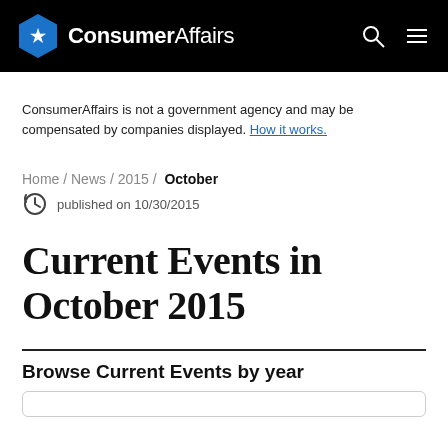ConsumerAffairs
ConsumerAffairs is not a government agency and may be compensated by companies displayed. How it works.
Home / News / 2015 / October
published on 10/30/2015
Current Events in October 2015
Browse Current Events by year